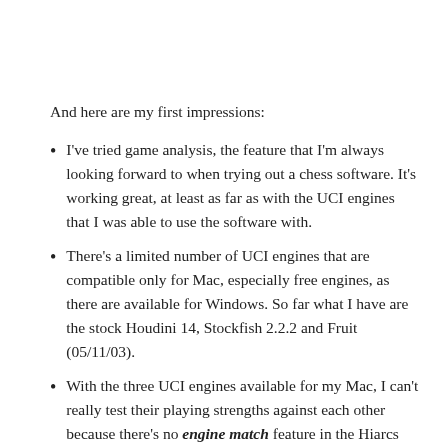And here are my first impressions:
I've tried game analysis, the feature that I'm always looking forward to when trying out a chess software. It's working great, at least as far as with the UCI engines that I was able to use the software with.
There's a limited number of UCI engines that are compatible only for Mac, especially free engines, as there are available for Windows. So far what I have are the stock Houdini 14, Stockfish 2.2.2 and Fruit (05/11/03).
With the three UCI engines available for my Mac, I can't really test their playing strengths against each other because there's no engine match feature in the Hiarcs Chess Explorer.